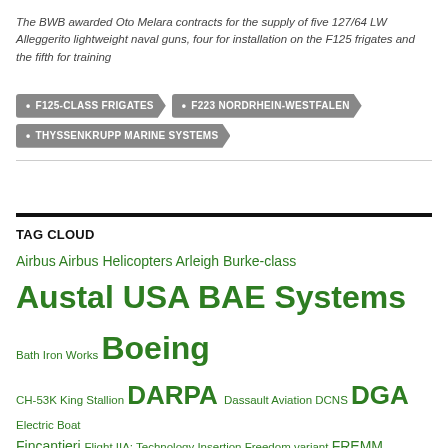The BWB awarded Oto Melara contracts for the supply of five 127/64 LW Alleggerito lightweight naval guns, four for installation on the F125 frigates and the fifth for training
F125-CLASS FRIGATES
F223 NORDRHEIN-WESTFALEN
THYSSENKRUPP MARINE SYSTEMS
TAG CLOUD
Airbus Airbus Helicopters Arleigh Burke-class Austal USA BAE Systems Bath Iron Works Boeing CH-53K King Stallion DARPA Dassault Aviation DCNS DGA Electric Boat Fincantieri Flight IIA: Technology Insertion Freedom variant FREMM General Dynamics Huntington Ingalls Industries Huntington Ingalls Industries (HII) Independence Variant Ingalls Shipbuilding Ingalls Shipbuilding Division Leonardo